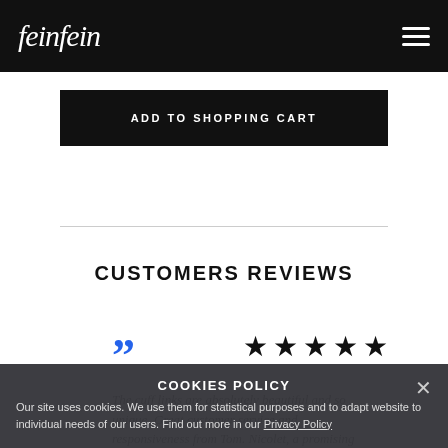feinfein
ADD TO SHOPPING CART
CUSTOMERS REVIEWS
"" ★★★★★
The cuff links are absolutely beautiful and so unique. Great customer service and responsiveness from Tom. Nicolet, a promising
COOKIES POLICY
Our site uses cookies. We use them for statistical purposes and to adapt website to individual needs of our users. Find out more in our Privacy Policy